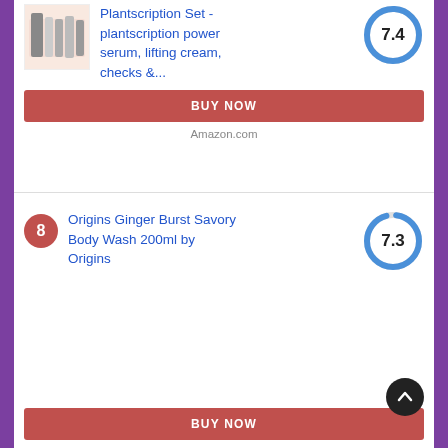[Figure (photo): Product image of Plantscription Set with tubes and bottles on pink box]
Plantscription Set - plantscription power serum, lifting cream, checks &...
[Figure (donut-chart): Score]
BUY NOW
Amazon.com
8
Origins Ginger Burst Savory Body Wash 200ml by Origins
[Figure (donut-chart): Score]
BUY NOW
Amazon.com
9
Origins Clear Improvement